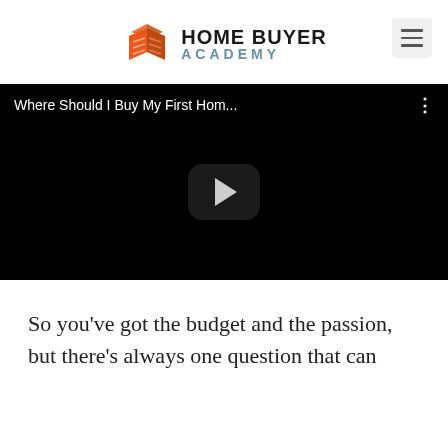[Figure (logo): Home Buyer Academy logo with orange house/book icon and text 'HOME BUYER ACADEMY']
[Figure (screenshot): YouTube video player showing 'Where Should I Buy My First Hom...' with a play button on a black background]
So you've got the budget and the passion, but there's always one question that can